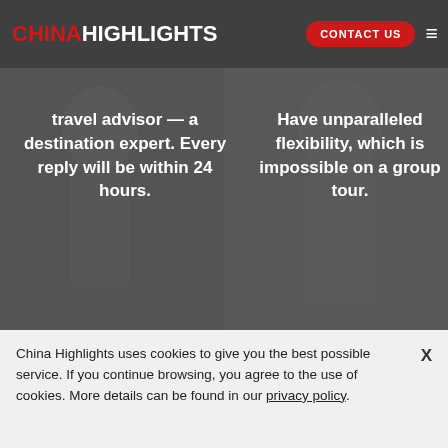CHINA HIGHLIGHTS | CONTACT US
travel advisor — a destination expert. Every reply will be within 24 hours.
Have unparalleled flexibility, which is impossible on a group tour.
[Figure (illustration): Dark grey background with ghost/silhouette figures and a red decorative swoosh with white script text partially visible]
China Highlights uses cookies to give you the best possible service. If you continue browsing, you agree to the use of cookies. More details can be found in our privacy policy.